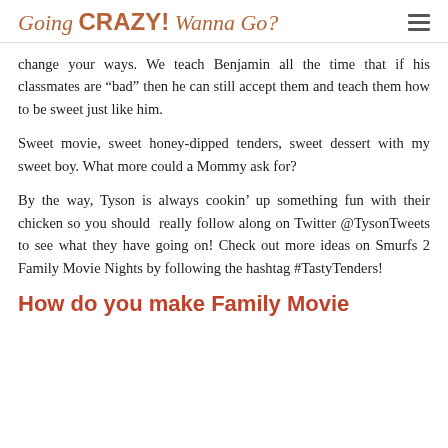Going CRAZY! Wanna Go?
change your ways. We teach Benjamin all the time that if his classmates are “bad” then he can still accept them and teach them how to be sweet just like him.
Sweet movie, sweet honey-dipped tenders, sweet dessert with my sweet boy. What more could a Mommy ask for?
By the way, Tyson is always cookin’ up something fun with their chicken so you should really follow along on Twitter @TysonTweets to see what they have going on! Check out more ideas on Smurfs 2 Family Movie Nights by following the hashtag #TastyTenders!
How do you make Family Movie